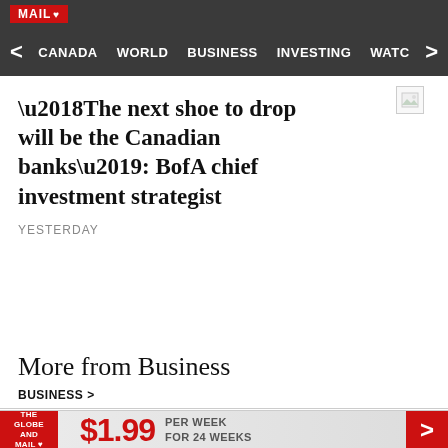MAIL
CANADA  WORLD  BUSINESS  INVESTING  WATC
'The next shoe to drop will be the Canadian banks': BofA chief investment strategist
YESTERDAY
More from Business
BUSINESS >
$1.99 PER WEEK FOR 24 WEEKS